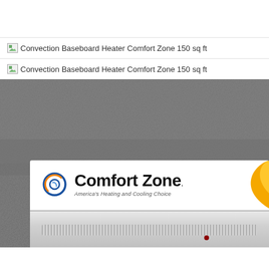Convection Baseboard Heater Comfort Zone 150 sq ft
Convection Baseboard Heater Comfort Zone 150 sq ft
[Figure (photo): Photo of a Comfort Zone convection baseboard heater product box on a gray carpet surface. The white product box shows the Comfort Zone brand logo with a circular swirl icon in blue and orange, the text 'Comfort Zone' in large bold black letters, and the tagline 'America's Heating and Cooling Choice' in italic. A yellow/orange wave design is visible on the right side of the box. Below the box branding is the front panel of the actual heater unit showing a white metal grille with a dark red indicator light.]